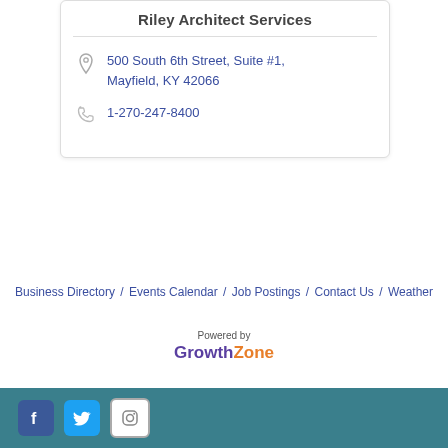Riley Architect Services
500 South 6th Street, Suite #1, Mayfield, KY 42066
1-270-247-8400
Business Directory / Events Calendar / Job Postings / Contact Us / Weather
[Figure (logo): Powered by GrowthZone logo]
Footer bar with Facebook, Twitter, and Instagram social icons